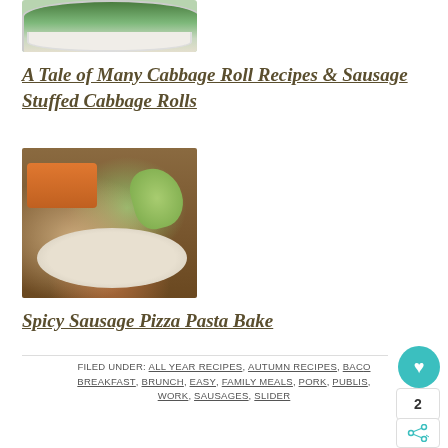[Figure (photo): Photo of broccoli or greens in a white bowl on a wooden surface]
A Tale of Many Cabbage Roll Recipes & Sausage Stuffed Cabbage Rolls
[Figure (photo): Photo of cabbage rolls on a plate with an orange baking dish in the background on a wooden surface]
Spicy Sausage Pizza Pasta Bake
FILED UNDER: ALL YEAR RECIPES, AUTUMN RECIPES, BACON, BREAKFAST, BRUNCH, EASY, FAMILY MEALS, PORK, PUBLISHED WORK, SAUSAGES, SLIDER